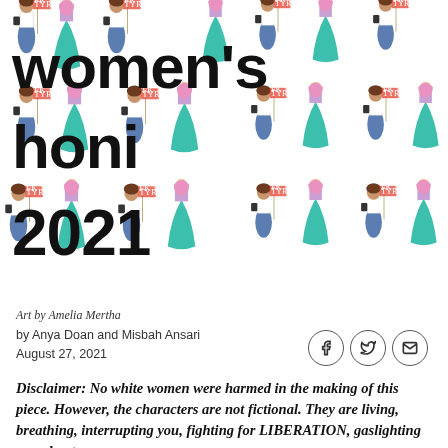[Figure (illustration): Tiled illustration of cartoon women figures — one with brown hair in white top and jeans holding a protest sign, one with pink hair in teal/mint dress. The figures are repeated in a grid pattern across the image. Bold black gothic/blackletter text overlaid reads 'women's honi 2021'.]
Art by Amelia Mertha
by Anya Doan and Misbah Ansari
August 27, 2021
Disclaimer: No white women were harmed in the making of this piece. However, the characters are not fictional. They are living, breathing, interrupting you, fighting for LIBERATION, gaslighting you about your